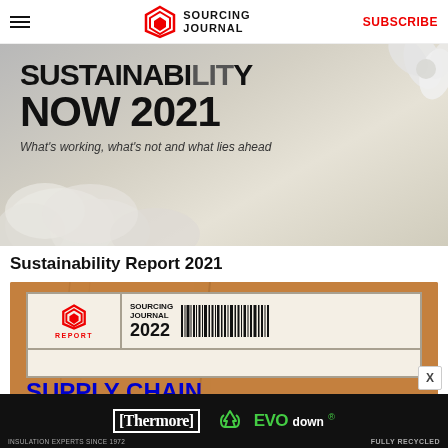SUBSCRIBE — Sourcing Journal
[Figure (photo): Sustainability Report 2021 banner with flowers top right and clouds bottom left, text reading SUSTAINABILITY NOW 2021 — What's working, what's not and what lies ahead]
Sustainability Report 2021
[Figure (photo): Sourcing Journal Report 2022 Supply Chain Technology — shipping label graphic on cardboard background with barcode, blue bold text SUPPLY CHAIN TECHNOLOGY]
[Figure (photo): Thermore EVO down — Insulation Experts Since 1972, Fully Recycled advertisement banner]